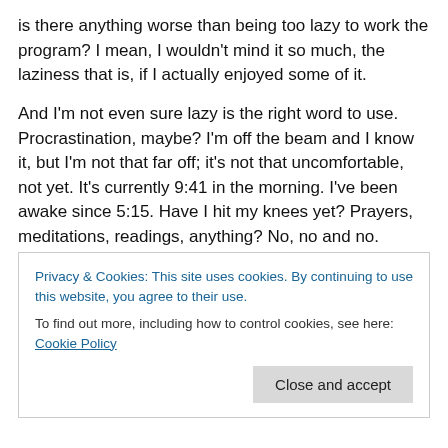is there anything worse than being too lazy to work the program? I mean, I wouldn't mind it so much, the laziness that is, if I actually enjoyed some of it.
And I'm not even sure lazy is the right word to use. Procrastination, maybe? I'm off the beam and I know it, but I'm not that far off; it's not that uncomfortable, not yet. It's currently 9:41 in the morning. I've been awake since 5:15. Have I hit my knees yet? Prayers, meditations, readings, anything? No, no and no. Instead, I'm aimlessly pacing, sitting, working, whatever. There's a steady undercurrent of low voltage noodling out the tips of my
Privacy & Cookies: This site uses cookies. By continuing to use this website, you agree to their use.
To find out more, including how to control cookies, see here: Cookie Policy